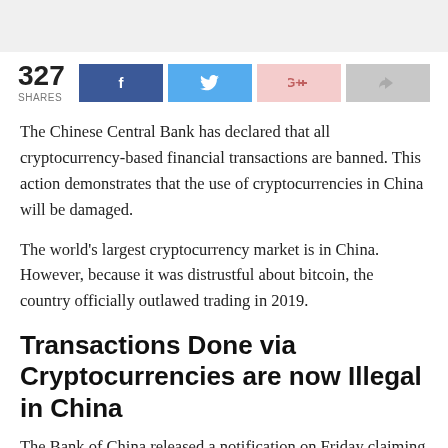[Figure (other): Light gray top bar / header strip at top of page]
327 SHARES [Facebook share button] [Twitter share button] [Google+ share button] [Share button]
The Chinese Central Bank has declared that all cryptocurrency-based financial transactions are banned. This action demonstrates that the use of cryptocurrencies in China will be damaged.
The world's largest cryptocurrency market is in China. However, because it was distrustful about bitcoin, the country officially outlawed trading in 2019.
Transactions Done via Cryptocurrencies are now Illegal in China
The Bank of China released a notification on Friday claiming that bitcoin, ethereum, and other digital currencies disrupted